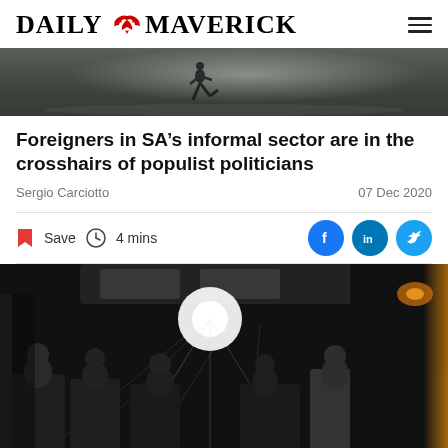DAILY MAVERICK
[Figure (photo): Top strip photo showing a person running on a wet surface, dark moody tones]
Foreigners in SA’s informal sector are in the crosshairs of populist politicians
Sergio Carciotto
07 Dec 2020
Save  4 mins
[Figure (photo): Interior of a bus or taxi with people sitting in dim light, a bright light source in the center background, warm orange glow on the right side]